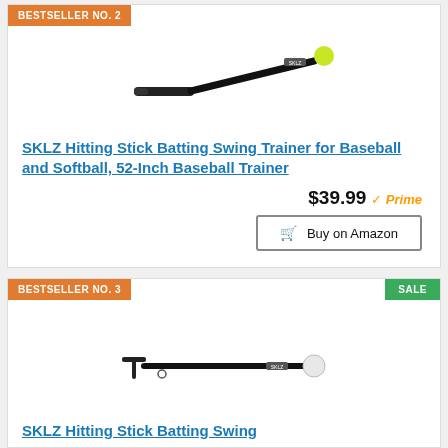BESTSELLER NO. 2
[Figure (photo): SKLZ Hitting Stick batting trainer product image — black stick with yellow-green ball tip]
SKLZ Hitting Stick Batting Swing Trainer for Baseball and Softball, 52-Inch Baseball Trainer
$39.99 Prime
Buy on Amazon
BESTSELLER NO. 3
SALE
[Figure (photo): SKLZ Hitting Stick batting trainer product image — black stick with white ball tip]
SKLZ Hitting Stick Batting Swing